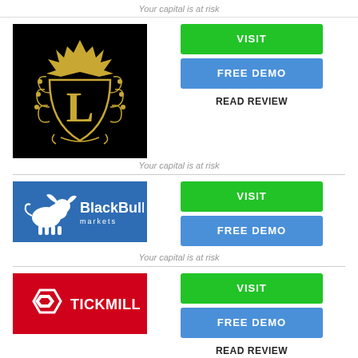Your capital is at risk
[Figure (logo): Black background with ornate gold letter L crest logo]
[Figure (logo): VISIT button (green)]
[Figure (logo): FREE DEMO button (blue)]
READ REVIEW
Your capital is at risk
[Figure (logo): BlackBull Markets logo on blue background]
[Figure (logo): VISIT button (green)]
[Figure (logo): FREE DEMO button (blue)]
Your capital is at risk
[Figure (logo): Tickmill logo on red background]
[Figure (logo): VISIT button (green)]
[Figure (logo): FREE DEMO button (blue)]
READ REVIEW